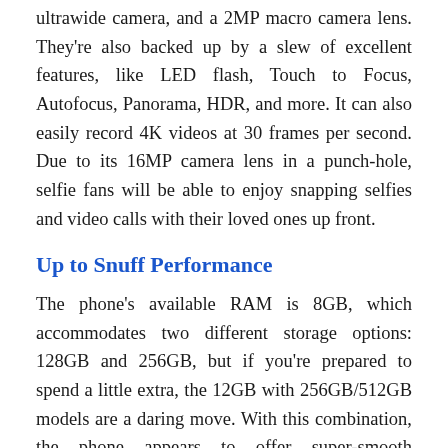ultrawide camera, and a 2MP macro camera lens. They're also backed up by a slew of excellent features, like LED flash, Touch to Focus, Autofocus, Panorama, HDR, and more. It can also easily record 4K videos at 30 frames per second. Due to its 16MP camera lens in a punch-hole, selfie fans will be able to enjoy snapping selfies and video calls with their loved ones up front.
Up to Snuff Performance
The phone's available RAM is 8GB, which accommodates two different storage options: 128GB and 256GB, but if you're prepared to spend a little extra, the 12GB with 256GB/512GB models are a daring move. With this combination, the phone appears to offer super-smooth performance and enough data storage space for storing large amounts of data. Furthermore, the MediaTek